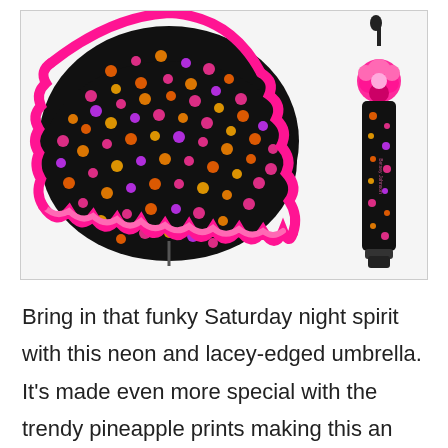[Figure (photo): Product photo showing a colorful pineapple-print umbrella in two views: left side shows umbrella open with hot pink frilly/lace edge and black fabric covered in neon pink, orange, and purple pineapple prints; right side shows umbrella folded/closed with a pink flower decoration and wrist strap, same pineapple print fabric visible.]
Bring in that funky Saturday night spirit with this neon and lacey-edged umbrella. It's made even more special with the trendy pineapple prints making this an umbrella like no other! It's automatic